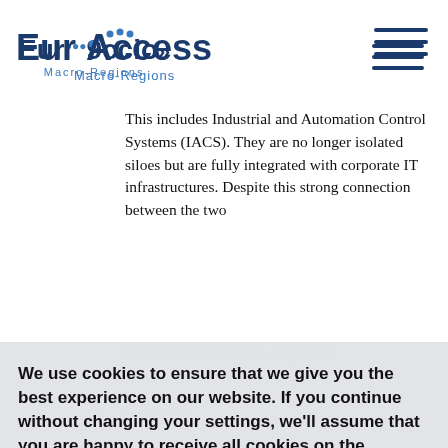EuroAccess Macro-Regions
This includes Industrial and Automation Control Systems (IACS). They are no longer isolated siloes but are fully integrated with corporate IT infrastructures. Despite this strong connection between the two infrastructures, there is only little ... that can ... assets can ... ment jumping to ... infrastructures, including the communication networks, stem from the fact that ICT systems are deployed in an environment or for an application that was not designed with security in mind
We use cookies to ensure that we give you the best experience on our website. If you continue without changing your settings, we'll assume that you are happy to receive all cookies on the website.  More information
Agree